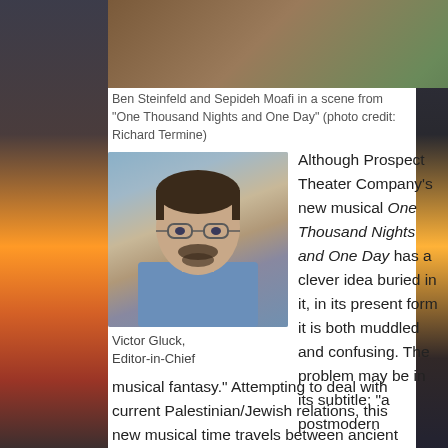[Figure (photo): Top portion of a theatrical scene photo showing performers in costume with floral decorations, partially cropped at top]
Ben Steinfeld and Sepideh Moafi in a scene from "One Thousand Nights and One Day" (photo credit: Richard Termine)
[Figure (photo): Headshot of Victor Gluck, Editor-in-Chief, a middle-aged man with glasses and a beard wearing a blue shirt]
Victor Gluck, Editor-in-Chief
Although Prospect Theater Company's new musical One Thousand Nights and One Day has a clever idea buried in it, in its present form it is both muddled and confusing. The problem may be in its subtitle: “a postmodern musical fantasy.” Attempting to deal with current Palestinian/Jewish relations, this new musical time travels between ancient Persia at the time of the Arabian Night tales and a New York of the future here called Man Hat. Often in the same scene, the main characters Queen Scheherazade/Dahna (Sepideh Moafi) and King Shahriyar/Alan are in two time frames simultaneously. The political and literary